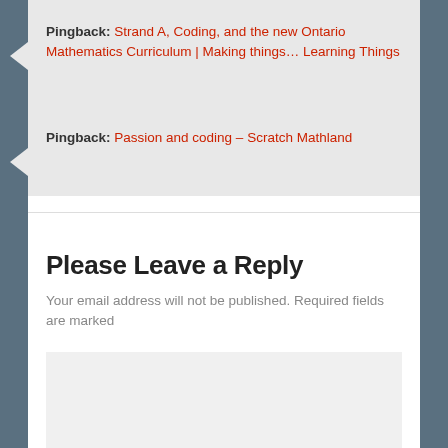Pingback: Strand A, Coding, and the new Ontario Mathematics Curriculum | Making things… Learning Things
Pingback: Passion and coding – Scratch Mathland
Please Leave a Reply
Your email address will not be published. Required fields are marked